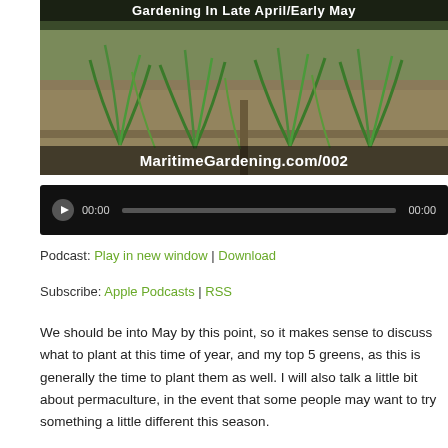[Figure (photo): Thumbnail image of a garden with green plants growing in raised beds, with title overlay text 'Gardening In Late April/Early May' and URL 'MaritimeGardening.com/002' at the bottom]
[Figure (other): Audio player widget with play button, time display '00:00', progress bar, and end time '00:00' on a black background]
Podcast: Play in new window | Download
Subscribe: Apple Podcasts | RSS
We should be into May by this point, so it makes sense to discuss what to plant at this time of year, and my top 5 greens, as this is generally the time to plant them as well. I will also talk a little bit about permaculture, in the event that some people may want to try something a little different this season.